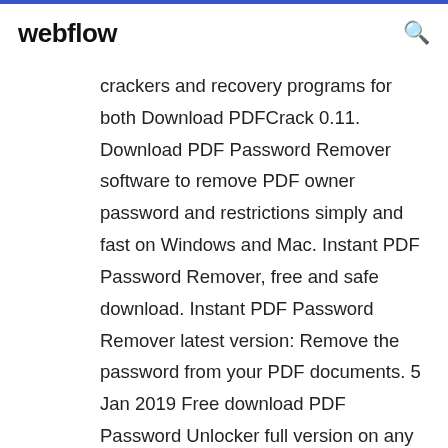webflow
crackers and recovery programs for both Download PDFCrack 0.11. Download PDF Password Remover software to remove PDF owner password and restrictions simply and fast on Windows and Mac. Instant PDF Password Remover, free and safe download. Instant PDF Password Remover latest version: Remove the password from your PDF documents. 5 Jan 2019 Free download PDF Password Unlocker full version on any Windows OS including 10. Try this PDF password remover freeware & crack PDF  Adobe Pdf Password Remover - V2 Softlogic Pdf password restrictions unlocker program decrypts pdf pages, and enable pdf permissions to print file, edit.